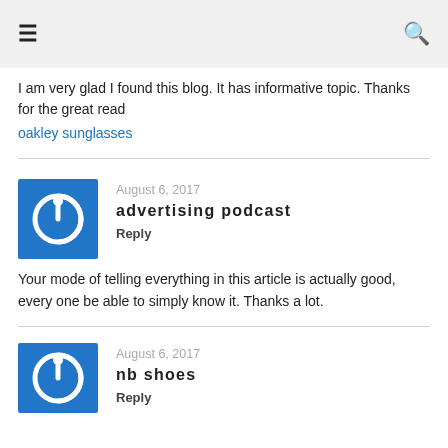≡   🔍
I am very glad I found this blog. It has informative topic. Thanks for the great read
oakley sunglasses
August 6, 2017
advertising podcast
Reply
Your mode of telling everything in this article is actually good, every one be able to simply know it. Thanks a lot.
August 6, 2017
nb shoes
Reply